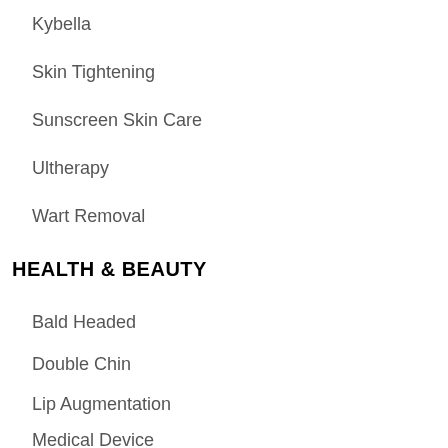Kybella
Skin Tightening
Sunscreen Skin Care
Ultherapy
Wart Removal
HEALTH & BEAUTY
Bald Headed
Double Chin
Lip Augmentation
Medical Device
Sweating